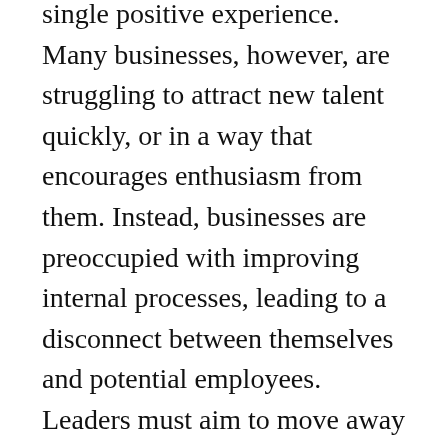single positive experience. Many businesses, however, are struggling to attract new talent quickly, or in a way that encourages enthusiasm from them. Instead, businesses are preoccupied with improving internal processes, leading to a disconnect between themselves and potential employees. Leaders must aim to move away from thinking of people as just a part of the process if they want to guarantee they're hiring the best talent possible. While processes matter to organisations, it's experiences that matter to people.
The first step for a business to take in designing a better candidate experience, is to identify the areas that are creating difficulty between a candidate and employer. One of the